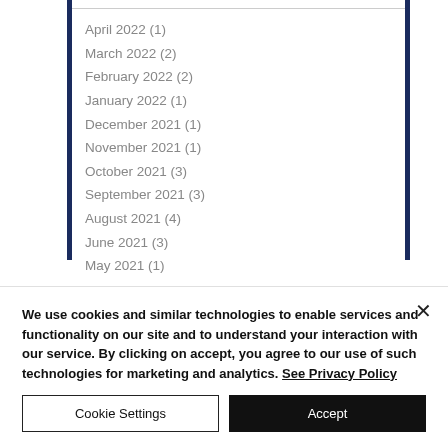April 2022 (1)
March 2022 (2)
February 2022 (2)
January 2022 (1)
December 2021 (1)
November 2021 (1)
October 2021 (3)
September 2021 (3)
August 2021 (4)
June 2021 (3)
May 2021 (1)
We use cookies and similar technologies to enable services and functionality on our site and to understand your interaction with our service. By clicking on accept, you agree to our use of such technologies for marketing and analytics. See Privacy Policy